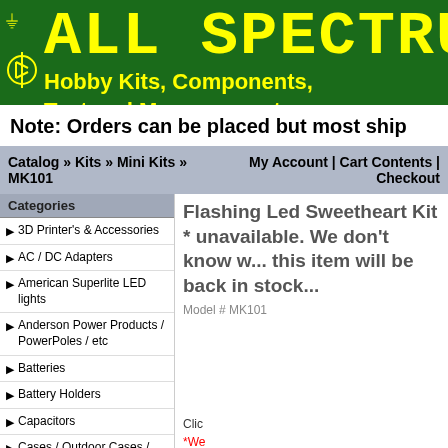ALL SPECTRUM - Hobby Kits, Components, Test and Measurement,
Note: Orders can be placed but most ship...
Catalog » Kits » Mini Kits » MK101 | My Account | Cart Contents | Checkout
Categories
3D Printer's & Accessories
AC / DC Adapters
American Superlite LED lights
Anderson Power Products / PowerPoles / etc
Batteries
Battery Holders
Capacitors
Cases / Outdoor Cases / Tool/Parts Boxes
CCD Cameras /
Flashing Led Sweetheart Kit * unavailable. We don't know when this item will be back in stock...
Model # MK101
Clic...
*We...
Show your love in an